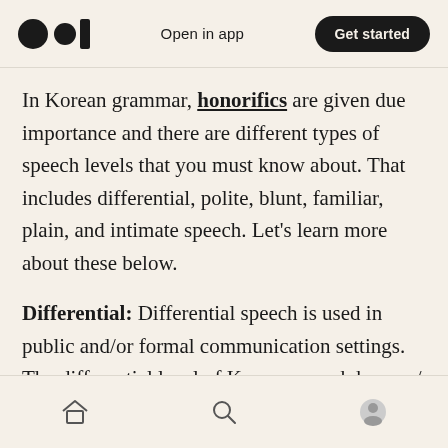Open in app  Get started
In Korean grammar, honorifics are given due importance and there are different types of speech levels that you must know about. That includes differential, polite, blunt, familiar, plain, and intimate speech. Let’s learn more about these below.
Differential: Differential speech is used in public and/or formal communication settings. The differential level of Korean speech has ⁄ (sbnida/bnida) sentence ending for declarative sentences.
Home  Search  Profile